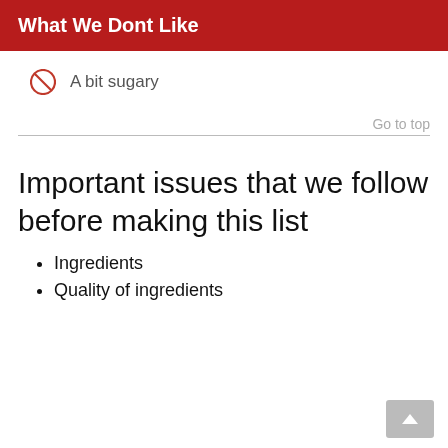What We Dont Like
A bit sugary
Go to top
Important issues that we follow before making this list
Ingredients
Quality of ingredients